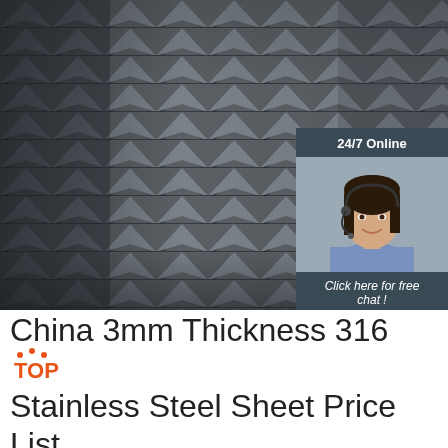[Figure (photo): Stacked gray steel angle bars/sections viewed from the end, showing chevron/V-shaped profile pattern. In the top-right corner there is an overlay card with '24/7 Online' heading, a photo of a smiling woman with a headset, text 'Click here for free chat!', and an orange 'QUOTATION' button.]
China 3mm Thickness 316 Stainless Steel Sheet Price List ...